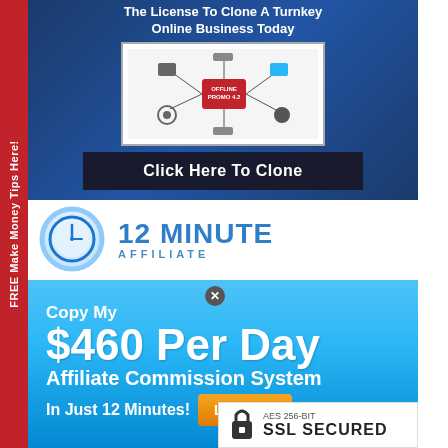[Figure (infographic): Blue gradient background ad with title 'The License To Clone A Turnkey Online Business Today', a diagram image in white box, and a dark 'Click Here To Clone' button]
[Figure (logo): 12 Minute Affiliate logo with clock icon on white background]
[Figure (infographic): Blue gradient promo box: 'Copy My $460 Per Day Affiliate Commission System In Just 12 Minutes!' with Learn More button and SSL badge]